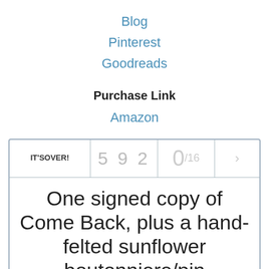Blog
Pinterest
Goodreads
Purchase Link
Amazon
[Figure (other): Widget showing contest status: IT'S OVER! with count 592 and ratio 0/16]
One signed copy of Come Back, plus a hand-felted sunflower boutonniere/pin